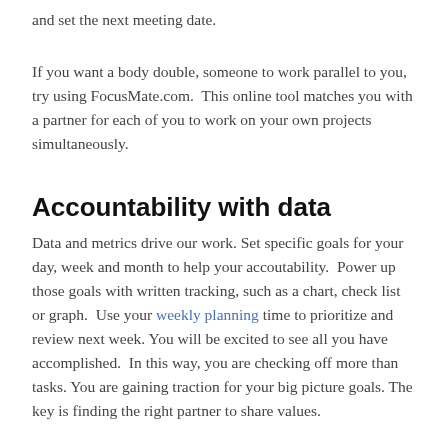and set the next meeting date.
If you want a body double, someone to work parallel to you, try using FocusMate.com.  This online tool matches you with a partner for each of you to work on your own projects simultaneously.
Accountability with data
Data and metrics drive our work. Set specific goals for your day, week and month to help your accoutability.  Power up those goals with written tracking, such as a chart, check list or graph.  Use your weekly planning time to prioritize and review next week. You will be excited to see all you have accomplished.  In this way, you are checking off more than tasks. You are gaining traction for your big picture goals. The key is finding the right partner to share values.